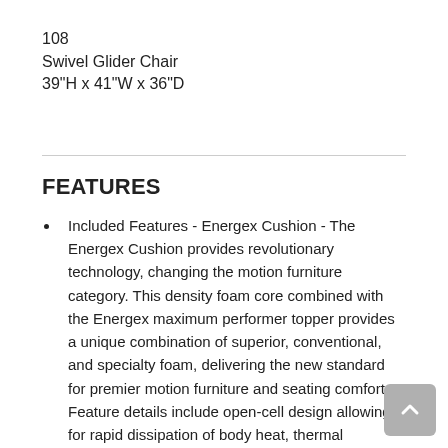108
Swivel Glider Chair
39"H x 41"W x 36"D
FEATURES
Included Features - Energex Cushion - The Energex Cushion provides revolutionary technology, changing the motion furniture category. This density foam core combined with the Energex maximum performer topper provides a unique combination of superior, conventional, and specialty foam, delivering the new standard for premier motion furniture and seating comfort. Feature details include open-cell design allowing for rapid dissipation of body heat, thermal performance cooling to improve temperature